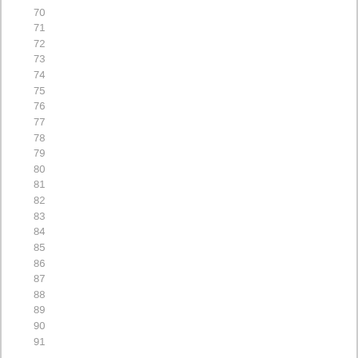70
71
72
73
74
75
76
77
78
79
80
81
82
83
84
85
86
87
88
89
90
91